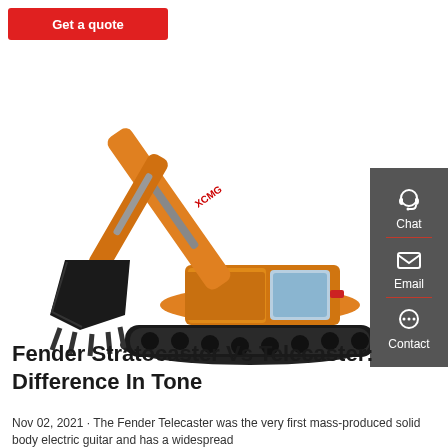[Figure (other): Red 'Get a quote' button at top left]
[Figure (photo): Large yellow XCMG excavator on white background with black arm/bucket]
[Figure (infographic): Dark grey sidebar with Chat (headset icon), Email (envelope icon), and Contact (speech bubble icon) buttons, separated by red dividers]
Fender Stratocaster Vs Telecaster: Difference In Tone
Nov 02, 2021 · The Fender Telecaster was the very first mass-produced solid body electric guitar and has a widespread